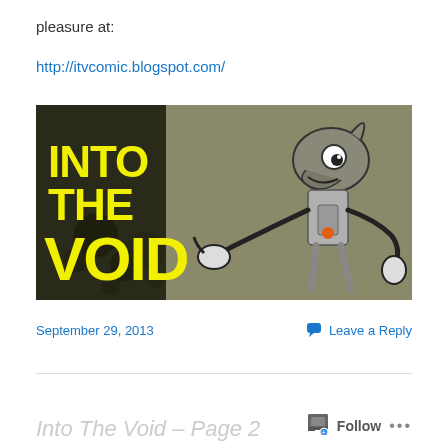pleasure at:
http://itvcomic.blogspot.com/
[Figure (illustration): Banner image for 'Into The Void' webcomic. Dark olive/khaki background with black halftone dots. Bold yellow text reads 'INTO THE VOID' on the left. On the right, a cartoon robot-dog character with a grey dog head, robotic body, and mechanical arms, one arm pointing left.]
September 29, 2013
Leave a Reply
Into The Void – Page 2